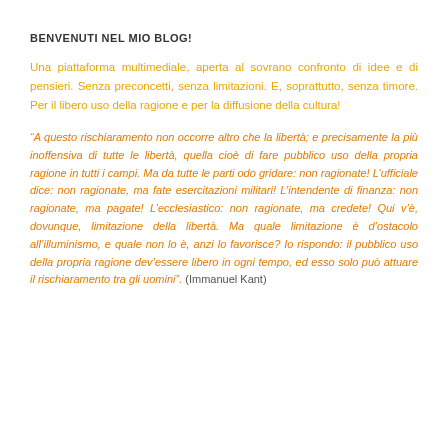BENVENUTI NEL MIO BLOG!
Una piattaforma multimediale, aperta al sovrano confronto di idee e di pensieri. Senza preconcetti, senza limitazioni. E, soprattutto, senza timore. Per il libero uso della ragione e per la diffusione della cultura!
“A questo rischiaramento non occorre altro che la libertà; e precisamente la più inoffensiva di tutte le libertà, quella cioè di fare pubblico uso della propria ragione in tutti i campi. Ma da tutte le parti odo gridare: non ragionate! L’ufficiale dice: non ragionate, ma fate esercitazioni militari! L’intendente di finanza: non ragionate, ma pagate! L’ecclesiastico: non ragionate, ma credete! Qui v’è, dovunque, limitazione della libertà. Ma quale limitazione è d’ostacolo all’illuminismo, e quale non lo è, anzi lo favorisce? Io rispondo: il pubblico uso della propria ragione dev’essere libero in ogni tempo, ed esso solo può attuare il rischiaramento tra gli uomini”. (Immanuel Kant)